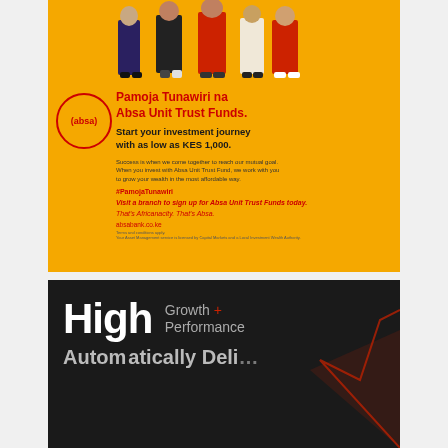[Figure (illustration): Advertisement for Absa Unit Trust Funds on yellow/orange background. Shows people standing at top, Absa logo circle with text (absa) in red, headline in red 'Pamoja Tunawiri na Absa Unit Trust Funds.', subheadline 'Start your investment journey with as low as KES 1,000.', body text about success and investment, hashtag #PamojaTunawiri, CTA to visit a branch, tagline 'That's Africanacity. That's Absa.', website absabank.co.ke, and disclaimers.]
[Figure (illustration): Dark background advertisement showing 'High Growth + Performance' in large text with a red triangle/line graph graphic on the right side. Bottom text partially visible.]